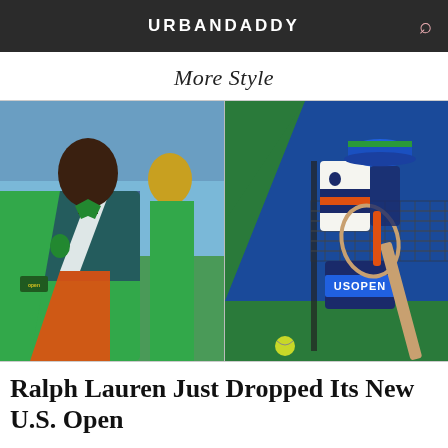URBANDADDY
More Style
[Figure (photo): Two-panel photo: Left panel shows a Black man wearing a green, navy, white, and orange color-block Ralph Lauren polo shirt on a tennis court. Right panel shows Ralph Lauren US Open branded accessories — a bag labeled 'US OPEN', a hat, sweater, and tennis racquet leaning against a net on a green/blue tennis court.]
Ralph Lauren Just Dropped Its New U.S. Open